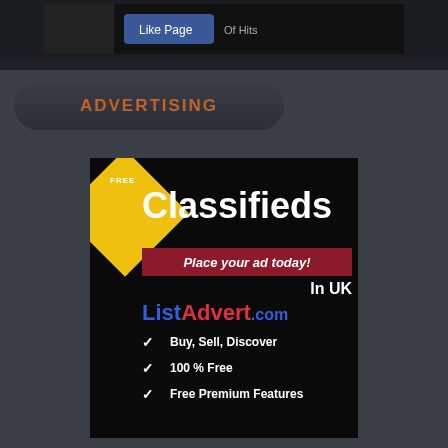[Figure (screenshot): Top banner area with social media like page button visible]
ADVERTISING
[Figure (infographic): Free Classifieds advertisement for ListAdvert.com in UK. Features yellow diamond logo, 'FREE Classifieds', 'Place your ad today!', 'In UK', 'ListAdvert.com', and checklist: Buy, Sell, Discover; 100 % Free; Free Premium Features]